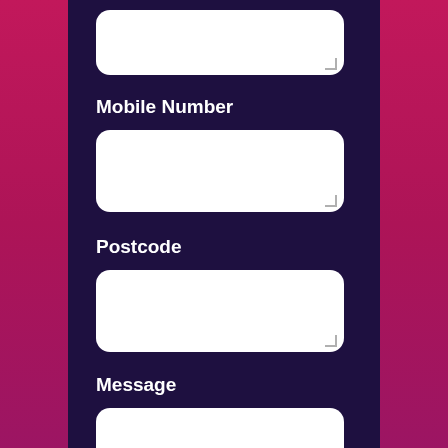[Figure (screenshot): A contact form UI on a dark purple background (#1e1040) with pink/magenta side panels. The form shows partially visible input fields and labels: a text field at the top (partially cut off), 'Mobile Number' label with text field, 'Postcode' label with text field, and 'Message' label with a taller text area beginning to show at the bottom. All input fields are white with rounded corners and a resize handle in the bottom-right corner.]